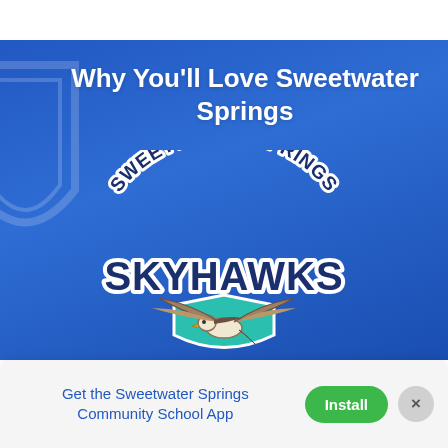Why You'll Love Sweetwater Springs
[Figure (logo): Sweetwater Springs Skyhawks school logo: arched text 'SWEETWATER SPRINGS' above bold 'SKYHAWKS' lettering, with a teal shield and a hawk/bird in flight in the center]
Get the Sweetwater Springs Community School App
Install
×